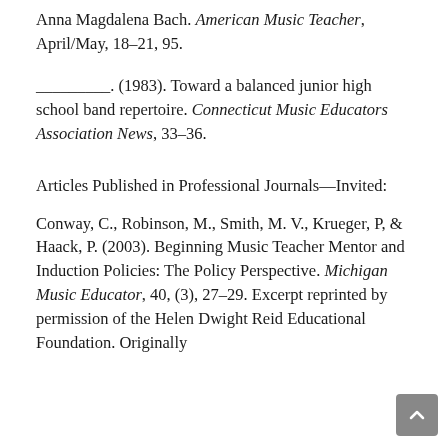Anna Magdalena Bach. American Music Teacher, April/May, 18–21, 95.
_________. (1983). Toward a balanced junior high school band repertoire. Connecticut Music Educators Association News, 33–36.
Articles Published in Professional Journals—Invited:
Conway, C., Robinson, M., Smith, M. V., Krueger, P, & Haack, P. (2003). Beginning Music Teacher Mentor and Induction Policies: The Policy Perspective. Michigan Music Educator, 40, (3), 27–29. Excerpt reprinted by permission of the Helen Dwight Reid Educational Foundation. Originally